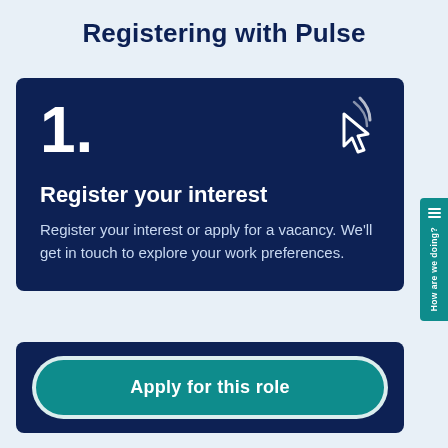Registering with Pulse
[Figure (infographic): Dark navy blue card with large white number '1.' and a white cursor/click icon in the top right corner, followed by bold white heading 'Register your interest' and descriptive text below.]
Register your interest
Register your interest or apply for a vacancy. We'll get in touch to explore your work preferences.
[Figure (infographic): Dark navy blue card containing a teal rounded button labeled 'Apply for this role' with a white border.]